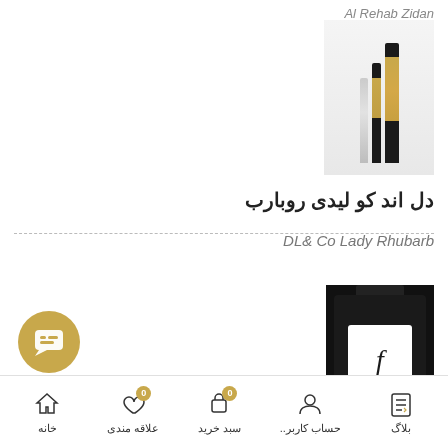Al Rehab Zidan
[Figure (photo): Perfume pen set with gold and black design — multiple slim pen-style perfume bottles]
دل اند کو لیدی روبارب
DL& Co Lady Rhubarb
[Figure (photo): Black square perfume bottle with white label showing a cursive 'f' letter, displayed against dark background]
[Figure (illustration): Gold circular chat/message button with chat bubble icon]
بلاگ | حساب کاربر.. | سبد خرید | علاقه مندی | خانه